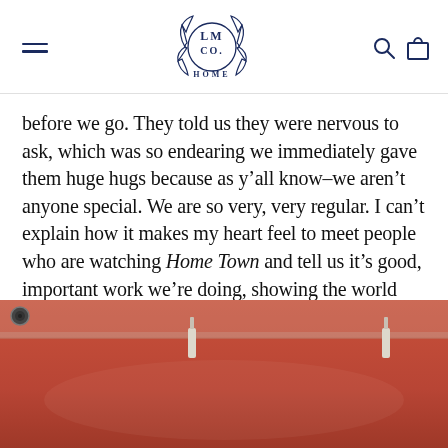LM CO HOME logo with hamburger menu, search, and cart icons
before we go. They told us they were nervous to ask, which was so endearing we immediately gave them huge hugs because as y’all know–we aren’t anyone special. We are so very, very regular. I can’t explain how it makes my heart feel to meet people who are watching Home Town and tell us it’s good, important work we’re doing, showing the world what’s special about small town America.
[Figure (photo): Interior photo showing a reddish-brown wall/surface with ceiling track lights and what appears to be a camera lens in the upper left corner.]